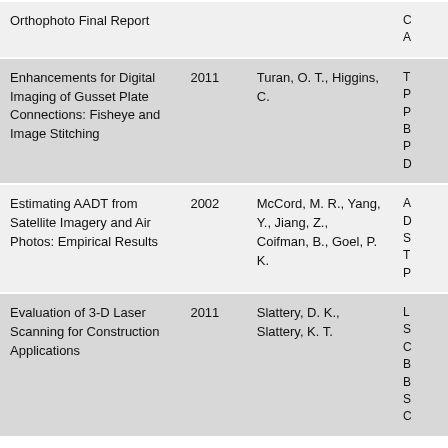| Title | Year | Author(s) |  |
| --- | --- | --- | --- |
| Orthophoto Final Report |  |  | C... A... |
| Enhancements for Digital Imaging of Gusset Plate Connections: Fisheye and Image Stitching | 2011 | Turan, O. T., Higgins, C. | T... P... P... B... P... D... |
| Estimating AADT from Satellite Imagery and Air Photos: Empirical Results | 2002 | McCord, M. R., Yang, Y., Jiang, Z., Coifman, B., Goel, P. K. | A... D... S... T... P... |
| Evaluation of 3-D Laser Scanning for Construction Applications | 2011 | Slattery, D. K., Slattery, K. T. | L... S... C... B... B... S... C... |